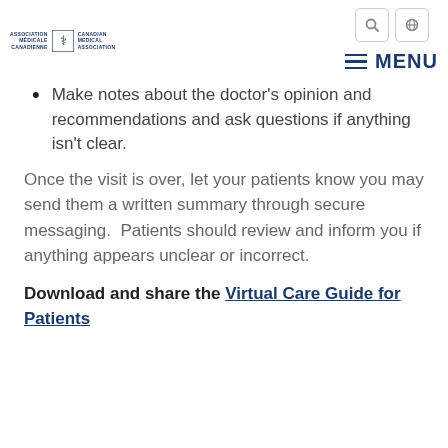Canadian Medical Association logo | MENU
Make notes about the doctor’s opinion and recommendations and ask questions if anything isn’t clear.
Once the visit is over, let your patients know you may send them a written summary through secure messaging.  Patients should review and inform you if anything appears unclear or incorrect.
Download and share the Virtual Care Guide for Patients